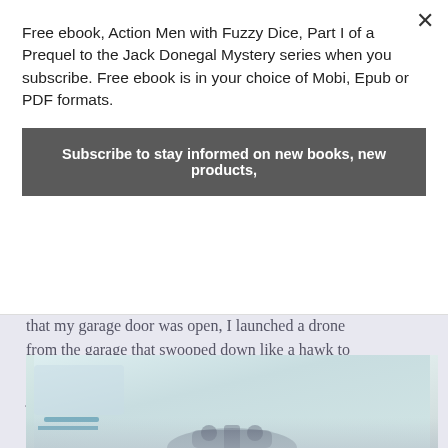Free ebook, Action Men with Fuzzy Dice, Part I of a Prequel to the Jack Donegal Mystery series when you subscribe. Free ebook is in your choice of Mobi, Epub or PDF formats.
Subscribe to stay informed on new books, new products,
verbal commands during a conference call. Now, that my garage door was open, I launched a drone from the garage that swooped down like a hawk to pick up the book from the pickup and continue its journey to the library.
[Figure (photo): A light-colored photo, likely showing a drone or robot device against a pale background, partially visible at the bottom of the page.]